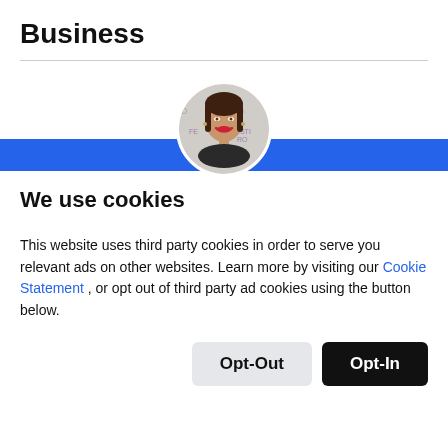Business
[Figure (photo): Circular profile photo of a woman with dark hair and red lipstick, overlapping a blue banner bar. Background shows partial text with 'FES', 'VE', 'FESTI', 'RO', 'D'.]
We use cookies
This website uses third party cookies in order to serve you relevant ads on other websites. Learn more by visiting our Cookie Statement , or opt out of third party ad cookies using the button below.
Opt-Out
Opt-In